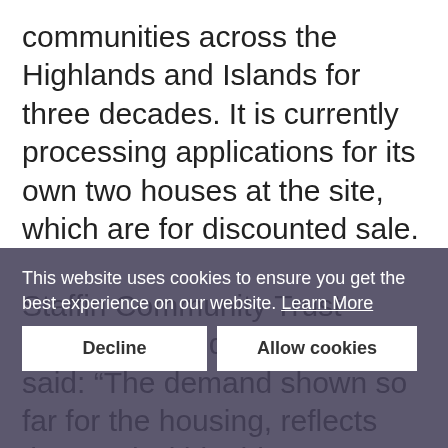communities across the Highlands and Islands for three decades. It is currently processing applications for its own two houses at the site, which are for discounted sale.
Staffin Community Trust director Donald MacDonald said: “The demand shown so far for the housing, reflects the need within this community, but it’s extremely frustrating that it takes seven years of constant battling against the system to build what is only a fraction of what is needed. For years government and councils have
This website uses cookies to ensure you get the best experience on our website. Learn More